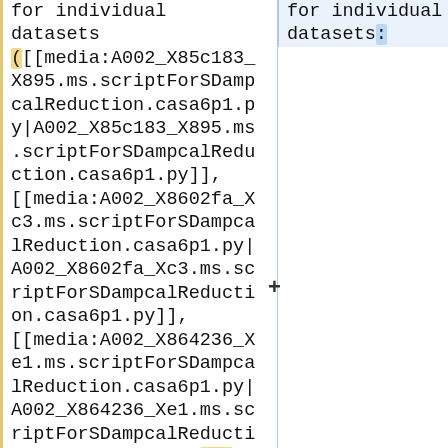for individual datasets ([[media:A002_X85c183_X895.ms.scriptForSDampcalReduction.casa6p1.py|A002_X85c183_X895.ms.scriptForSDampcalReduction.casa6p1.py]], [[media:A002_X8602fa_Xc3.ms.scriptForSDampcalReduction.casa6p1.py|A002_X8602fa_Xc3.ms.scriptForSDampcalReduction.casa6p1.py]], [[media:A002_X864236_Xe1.ms.scriptForSDampcalReduction.casa6p1.py|A002_X864236_Xe1.ms.scriptForSDampcalReduction.casa6p1.py]], and [[media:A002_X86fcfa_X3ae.ms.scriptForSDampc
for individual datasets: